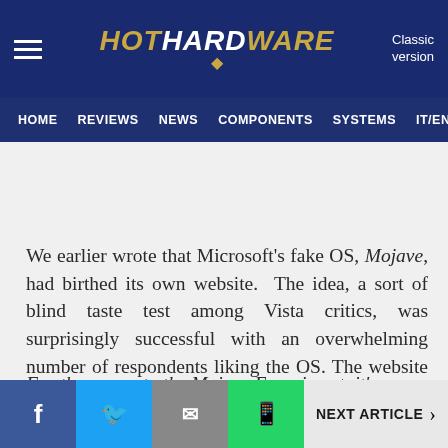HotHardware — Classic version | HOME | REVIEWS | NEWS | COMPONENTS | SYSTEMS | IT/EN
We earlier wrote that Microsoft's fake OS, Mojave, had birthed its own website.  The idea, a sort of blind taste test among Vista critics, was surprisingly successful with an overwhelming number of respondents liking the OS.  The website was, starting today, designed to show videos of the respondents, and indeed that part of the site has launched.
For those new to the Mojave Experiment, it's a focus
f  [twitter]  [mail]  [whatsapp]  NEXT ARTICLE >